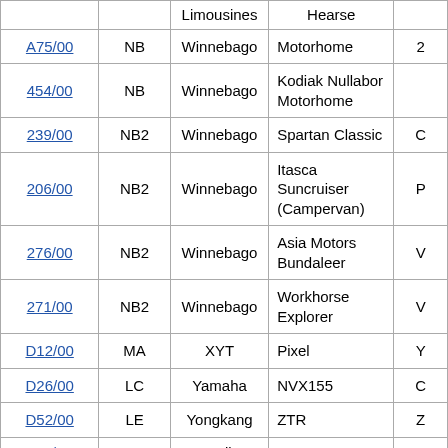| Code | Class | Make | Model | ... |
| --- | --- | --- | --- | --- |
| ... | ... | Limousines | Hearse | ... |
| A75/00 | NB | Winnebago | Motorhome | 2... |
| 454/00 | NB | Winnebago | Kodiak Nullabor Motorhome | ... |
| 239/00 | NB2 | Winnebago | Spartan Classic | C... |
| 206/00 | NB2 | Winnebago | Itasca Suncruiser (Campervan) | P... |
| 276/00 | NB2 | Winnebago | Asia Motors Bundaleer | V... |
| 271/00 | NB2 | Winnebago | Workhorse Explorer | V... |
| D12/00 | MA | XYT | Pixel | Y... |
| D26/00 | LC | Yamaha | NVX155 | C... |
| D52/00 | LE | Yongkang | ZTR | Z... |
| 215/00 | NB1 | Yuajin | NJ1028DR | ... |